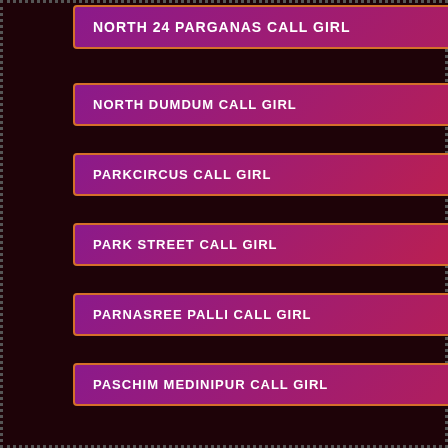NORTH 24 PARGANAS CALL GIRL
NORTH DUMDUM CALL GIRL
PARKCIRCUS CALL GIRL
PARK STREET CALL GIRL
PARNASREE PALLI CALL GIRL
PASCHIM MEDINIPUR CALL GIRL
PATULI CALL GIRL
PURBA BARDHAMAN CALL GIRL
PURBA MEDINIPUR CALL GIRL
PURULIA CALL GIRL
RAJARAHAT CALL GIRL